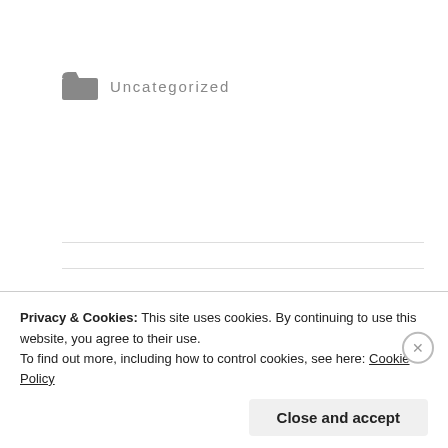Uncategorized
← Chilaquiles Verde
Creamy Garlicky Hummus using the Instant Pot →
Leave a Reply
Privacy & Cookies: This site uses cookies. By continuing to use this website, you agree to their use.
To find out more, including how to control cookies, see here: Cookie Policy
Close and accept